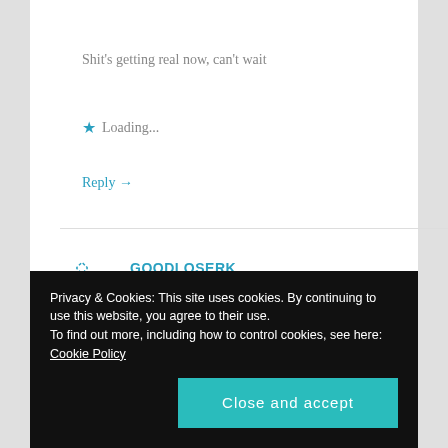Shit's getting real now, can't wait
★ Loading...
Reply →
GOODLOSERK
May 1, 2020 at 1:24 am
You know for someone who says that part 4 this, story arc that he sure is dumb for not seeing this coming.
Privacy & Cookies: This site uses cookies. By continuing to use this website, you agree to their use. To find out more, including how to control cookies, see here: Cookie Policy
Close and accept